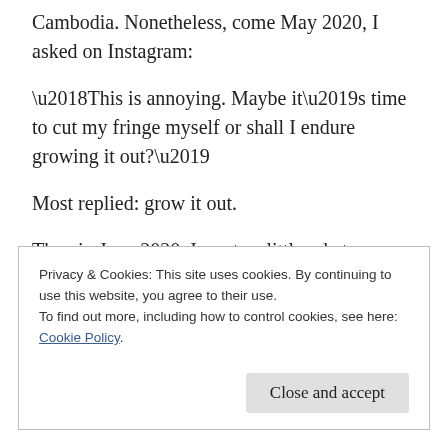Cambodia. Nonetheless, come May 2020, I asked on Instagram:
‘This is annoying. Maybe it’s time to cut my fringe myself or shall I endure growing it out?’
Most replied: grow it out.
Then in June 2020, I wrote a little ode to my pixie cut, which I’ve revised a little here.
Privacy & Cookies: This site uses cookies. By continuing to use this website, you agree to their use.
To find out more, including how to control cookies, see here: Cookie Policy
Close and accept